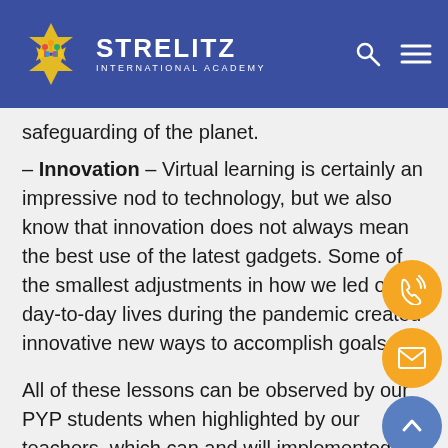STRELITZ INTERNATIONAL ACADEMY
safeguarding of the planet.
– Innovation – Virtual learning is certainly an impressive nod to technology, but we also know that innovation does not always mean the best use of the latest gadgets. Some of the smallest adjustments in how we led our day-to-day lives during the pandemic created innovative new ways to accomplish goals.
All of these lessons can be observed by our PYP students when highlighted by our teachers, which can and will implemented in our educational process. The beauty of inquiry-based learning is that students can learn from real-world lessons and apply them to not only how they learn and understand, but also to how they can be good citizens of the